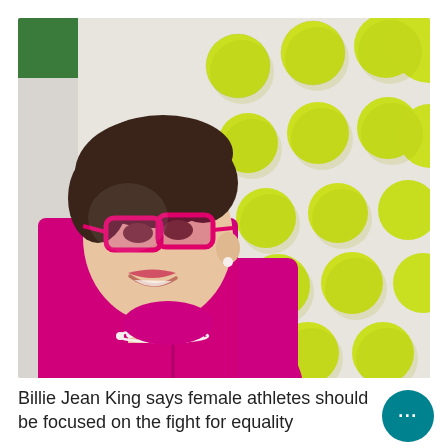[Figure (photo): A woman with short brown hair and pink-framed glasses, wearing a bright magenta/pink zip-up jacket and pearl necklace, smiling. In the background is a white wall with many yellow-green tennis balls mounted on it in a decorative grid pattern.]
Billie Jean King says female athletes should be focused on the fight for equality